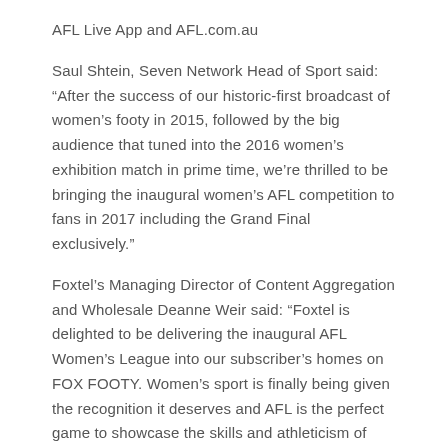AFL Live App and AFL.com.au
Saul Shtein, Seven Network Head of Sport said: “After the success of our historic-first broadcast of women’s footy in 2015, followed by the big audience that tuned into the 2016 women’s exhibition match in prime time, we’re thrilled to be bringing the inaugural women’s AFL competition to fans in 2017 including the Grand Final exclusively.”
Foxtel’s Managing Director of Content Aggregation and Wholesale Deanne Weir said: “Foxtel is delighted to be delivering the inaugural AFL Women’s League into our subscriber’s homes on FOX FOOTY. Women’s sport is finally being given the recognition it deserves and AFL is the perfect game to showcase the skills and athleticism of these footballers.”
National Australia Bank’s Chief Operating Officer,